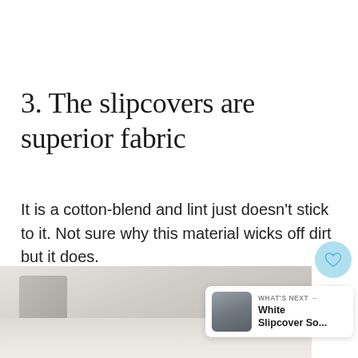3. The slipcovers are superior fabric
It is a cotton-blend and lint just doesn't stick to it. Not sure why this material wicks off dirt but it does.
[Figure (photo): Bottom portion of page showing a light-colored sofa/slipcover photo, a heart favorite button, a share button, and a 'What's Next' card showing White Slipcover So...]